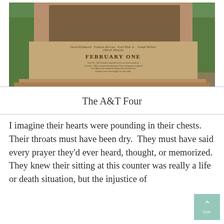[Figure (photo): Photograph of the February One monument at NC A&T, a tall stone pedestal with four bronze figures on top, inscribed with the names of the Greensboro Four sit-in students and 'FEBRUARY ONE', set against a background of trees and a brick building.]
The A&T Four
I imagine their hearts were pounding in their chests. Their throats must have been dry. They must have said every prayer they'd ever heard, thought, or memorized. They knew their sitting at this counter was really a life or death situation, but the injustice of